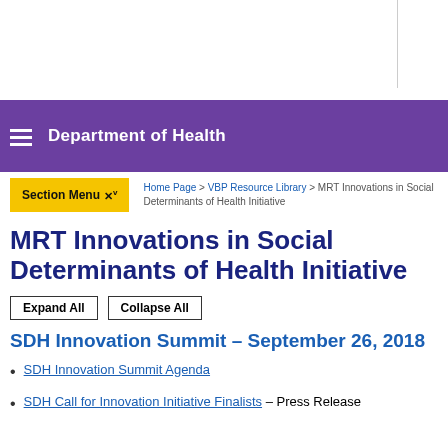Department of Health
Section Menu ˅ | Home Page > VBP Resource Library > MRT Innovations in Social Determinants of Health Initiative
MRT Innovations in Social Determinants of Health Initiative
Expand All   Collapse All
SDH Innovation Summit – September 26, 2018
SDH Innovation Summit Agenda
SDH Call for Innovation Initiative Finalists – Press Release